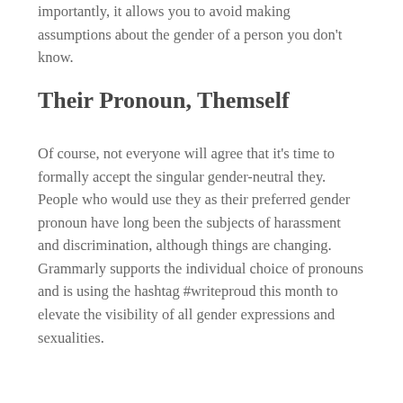importantly, it allows you to avoid making assumptions about the gender of a person you don't know.
Their Pronoun, Themself
Of course, not everyone will agree that it's time to formally accept the singular gender-neutral they. People who would use they as their preferred gender pronoun have long been the subjects of harassment and discrimination, although things are changing. Grammarly supports the individual choice of pronouns and is using the hashtag #writeproud this month to elevate the visibility of all gender expressions and sexualities.